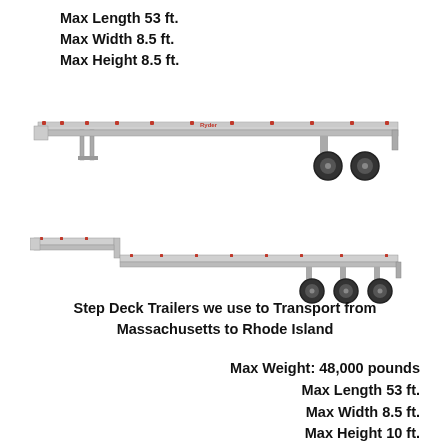Max Length 53 ft.
Max Width 8.5 ft.
Max Height 8.5 ft.
[Figure (photo): Side view of a flatbed trailer with red marker lights along the deck edge and dual rear axles with dark wheels.]
[Figure (photo): Side view of a step deck trailer with a lowered front section, red marker lights along the side, and triple rear axles with dark wheels.]
Step Deck Trailers we use to Transport from Massachusetts to Rhode Island
Max Weight: 48,000 pounds
Max Length 53 ft.
Max Width 8.5 ft.
Max Height 10 ft.